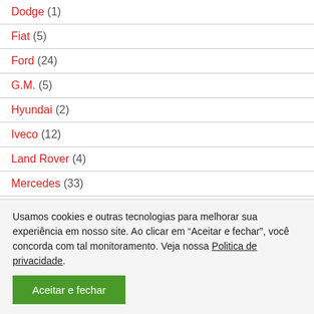Dodge (1)
Fiat (5)
Ford (24)
G.M. (5)
Hyundai (2)
Iveco (12)
Land Rover (4)
Mercedes (33)
Mitsubishi (2)
Usamos cookies e outras tecnologias para melhorar sua experiência em nosso site. Ao clicar em “Aceitar e fechar”, você concorda com tal monitoramento. Veja nossa Politica de privacidade.
Aceitar e fechar